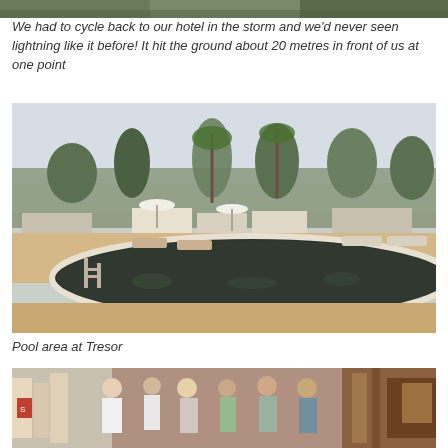[Figure (photo): Top strip of a photo, partially visible at the top of the page]
We had to cycle back to our hotel in the storm and we'd never seen lightning like it before! It hit the ground about 20 metres in front of us at one point
[Figure (photo): Pool area at a resort called Tresor, showing a large dark reflective swimming pool with white pebble border, sun loungers and umbrellas, tropical trees and buildings in background under a hazy sky]
Pool area at Tresor
[Figure (photo): Busy indoor market or shop with people browsing goods, clothes and items on display, wooden structures visible]